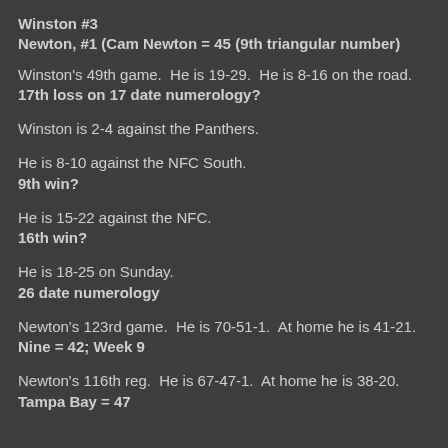Winston #3
Newton, #1 (Cam Newton = 45 (9th triangular number)
Winston's 49th game.  He is 19-29.  He is 8-16 on the road.
17th loss on 17 date numerology?
Winston is 2-4 against the Panthers.
He is 8-10 against the NFC South.
9th win?
He is 15-22 against the NFC.
16th win?
He is 18-25 on Sunday.
26 date numerology
Newton's 123rd game.  He is 70-51-1.  At home he is 41-21.
Nine = 42; Week 9
Newton's 116th reg.  He is 67-47-1.  At home he is 38-20.
Tampa Bay = 47